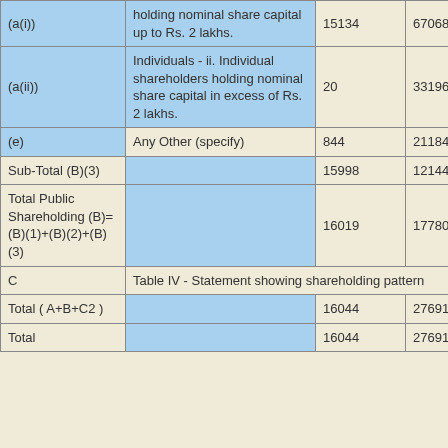| Category | Description | No. of Shareholders | Total Shares |
| --- | --- | --- | --- |
| (a(i)) | holding nominal share capital up to Rs. 2 lakhs. | 15134 | 6706818 |
| (a(ii)) | Individuals - ii. Individual shareholders holding nominal share capital in excess of Rs. 2 lakhs. | 20 | 3319679 |
| (e) | Any Other (specify) | 844 | 2118429 |
| Sub-Total (B)(3) |  | 15998 | 12144926 |
| Total Public Shareholding (B)=(B)(1)+(B)(2)+(B)(3) |  | 16019 | 17780407 |
| C | Table IV - Statement showing shareholding pattern |  |  |
| Total (A+B+C2 ) |  | 16044 | 27691052 |
| Total |  | 16044 | 27691052 |